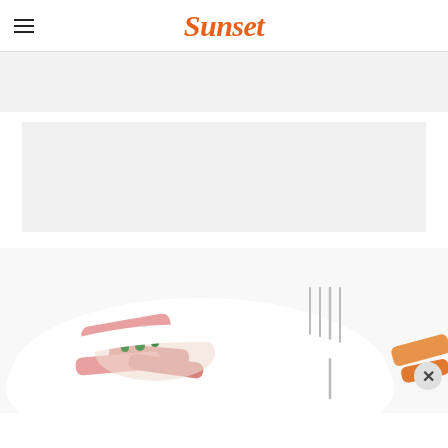Sunset
[Figure (screenshot): Gray advertisement banner placeholder]
[Figure (screenshot): Gray advertisement block placeholder]
[Figure (photo): Food photo showing shrimp or seafood dish with herbs (cilantro/parsley) garnish on a white plate, with a fork visible on the right side and orange/carrot elements on the edge]
[Figure (other): Close/dismiss button (X) overlay on bottom right of food photo]